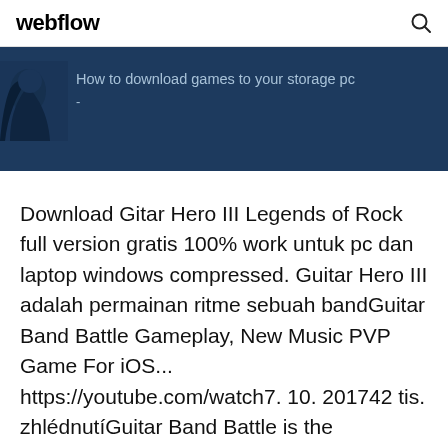webflow
[Figure (screenshot): Dark blue banner with a partial image of a dark figure/character on the left side, and text reading 'How to download games to your storage pc' with a dash below it]
Download Gitar Hero III Legends of Rock full version gratis 100% work untuk pc dan laptop windows compressed. Guitar Hero III adalah permainan ritme sebuah bandGuitar Band Battle Gameplay, New Music PVP Game For iOS... https://youtube.com/watch7. 10. 201742 tis. zhlédnutíGuitar Band Battle is the